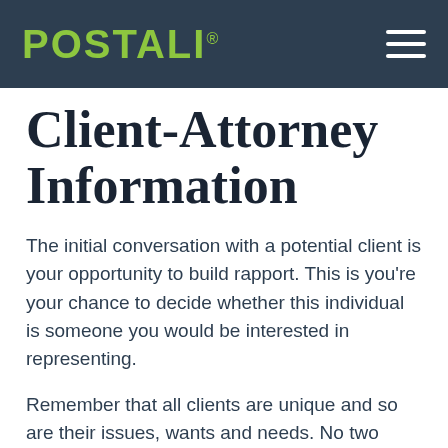POSTALI®
Client-Attorney Information
The initial conversation with a potential client is your opportunity to build rapport. This is you're your chance to decide whether this individual is someone you would be interested in representing.
Remember that all clients are unique and so are their issues, wants and needs. No two cases will ever be alike, but it may help to prepare a loose